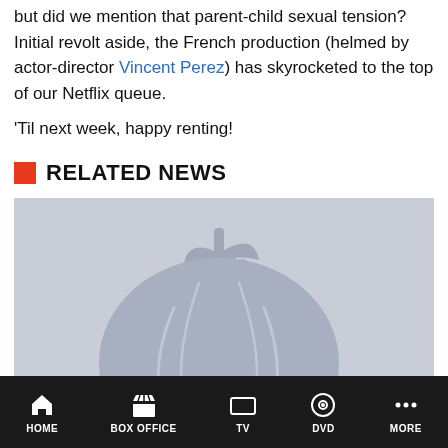but did we mention that parent-child sexual tension? Initial revolt aside, the French production (helmed by actor-director Vincent Perez) has skyrocketed to the top of our Netflix queue.
'Til next week, happy renting!
RELATED NEWS
[Figure (illustration): Rotten Tomatoes logo placeholder — grayscale tomato icon on light gray background]
The RT Review Revue: Street Kings, Smart People, and Prom Night
HOME  BOX OFFICE  TV  DVD  MORE